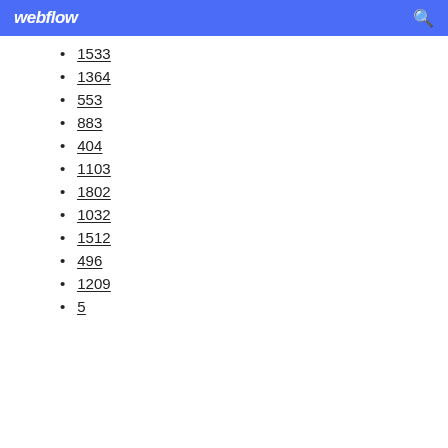webflow
1533
1364
553
883
404
1103
1802
1032
1512
496
1209
5